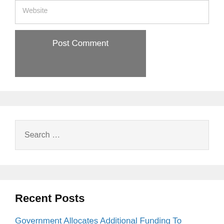Website
Post Comment
Search …
Recent Posts
Government Allocates Additional Funding To Improve Country's Socio-Economic